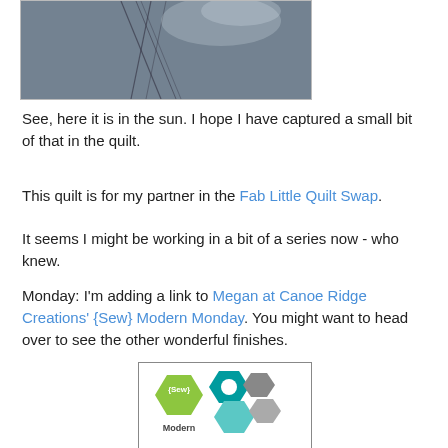[Figure (photo): Close-up photo of dark blue/grey quilt fabric in sunlight showing stitching details]
See, here it is in the sun. I hope I have captured a small bit of that in the quilt.
This quilt is for my partner in the Fab Little Quilt Swap.
It seems I might be working in a bit of a series now - who knew.
Monday: I'm adding a link to Megan at Canoe Ridge Creations' {Sew} Modern Monday. You might want to head over to see the other wonderful finishes.
[Figure (logo): Sew Modern Monday logo with hexagon shapes in green, teal, and grey colors]